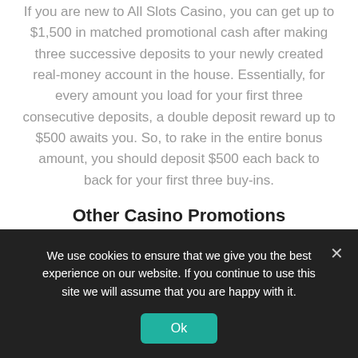If you are new to All Slots Casino, you can get up to $1,500 in matched promotional cash after making three successive deposits to your newly created real-money account in the house. Essentially, for every amount you load for your first three consecutive deposits, a double deposit reward up to $500 awaits you. So, to rake in the entire bonus amount, you should deposit $500 each back to back for your first three buy-ins.
Other Casino Promotions
The fun doesn't stop at the welcome offer alone. All Slots Casino still offers monthly promotions which
We use cookies to ensure that we give you the best experience on our website. If you continue to use this site we will assume that you are happy with it.